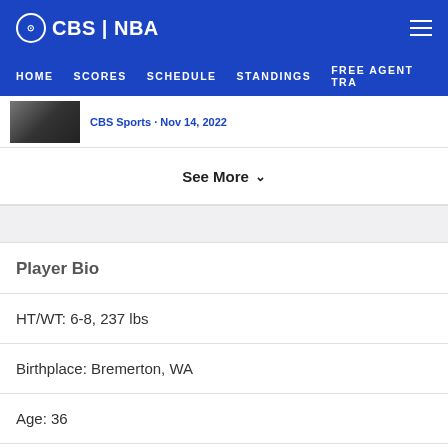CBS | NBA
HOME   SCORES   SCHEDULE   STANDINGS   FREE AGENT TRA
[Figure (photo): Thumbnail photo of a person at an event]
CBS Sports · Nov 14, 2022
See More
Player Bio
HT/WT: 6-8, 237 lbs
Birthplace: Bremerton, WA
Age: 36
School: North Carolina